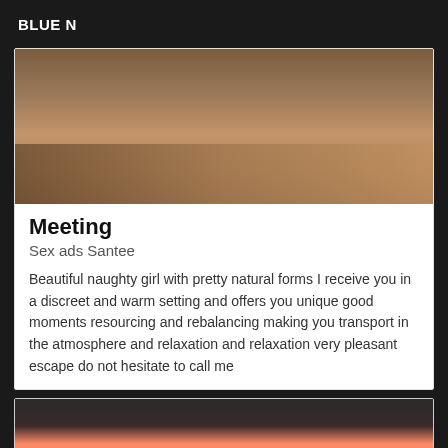BLUE N
[Figure (photo): Close-up photo of a person's midsection/torso with hands, wearing bracelets, indoor setting with orange chair visible]
Meeting
Sex ads Santee
Beautiful naughty girl with pretty natural forms I receive you in a discreet and warm setting and offers you unique good moments resourcing and rebalancing making you transport in the atmosphere and relaxation and relaxation very pleasant escape do not hesitate to call me
[Figure (photo): Photo of person wearing pink underwear/shorts, dark background]